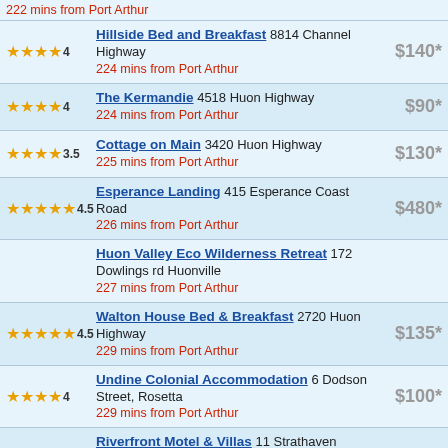222 mins from Port Arthur
Hillside Bed and Breakfast 8814 Channel Highway, 224 mins from Port Arthur, $140*
The Kermandie 4518 Huon Highway, 224 mins from Port Arthur, $90*
Cottage on Main 3420 Huon Highway, 225 mins from Port Arthur, $130*
Esperance Landing 415 Esperance Coast Road, 226 mins from Port Arthur, $480*
Huon Valley Eco Wilderness Retreat 172 Dowlings rd Huonville, 227 mins from Port Arthur
Walton House Bed & Breakfast 2720 Huon Highway, 229 mins from Port Arthur, $135*
Undine Colonial Accommodation 6 Dodson Street, Rosetta, 229 mins from Port Arthur, $100*
Riverfront Motel & Villas 11 Strathaven Drive, Rosetta, 231 mins from Port Arthur, $89*
Huonville Guesthouse 184 Main Road, 231 mins from Port Arthur, $150*
MONA Pavilions 655 Main Rd, 232 mins from Port Arthur, $650*
House on the Hill Bed and Breakfast 186